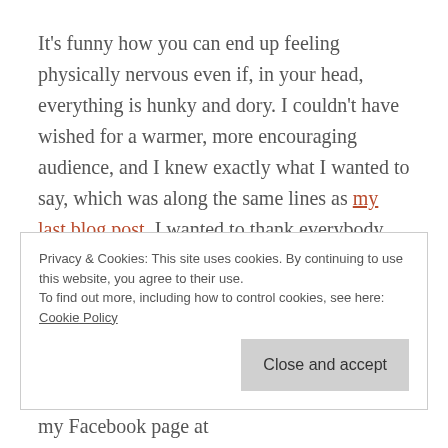It's funny how you can end up feeling physically nervous even if, in your head, everything is hunky and dory. I couldn't have wished for a warmer, more encouraging audience, and I knew exactly what I wanted to say, which was along the same lines as my last blog post. I wanted to thank everybody for coming, acknowledge the help and support I'd received both from the people present and from some who had been unable to make it, and let everybody get back to their wine. Yet, when
Privacy & Cookies: This site uses cookies. By continuing to use this website, you agree to their use.
To find out more, including how to control cookies, see here: Cookie Policy
Close and accept
my Facebook page at